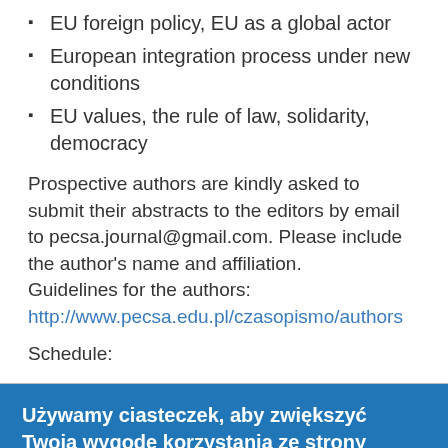EU foreign policy, EU as a global actor
European integration process under new conditions
EU values, the rule of law, solidarity, democracy
Prospective authors are kindly asked to submit their abstracts to the editors by email to pecsa.journal@gmail.com. Please include the author's name and affiliation.
Guidelines for the authors:
http://www.pecsa.edu.pl/czasopismo/authors
Schedule:
Używamy ciasteczek, aby zwiększyć Twoją wygodę korzystania ze strony
Pozostając na tej stronie zezwalasz nam na używanie ciasteczek oraz akceptujesz politykę prywatności.
Zgadzam się | Więcej informacji